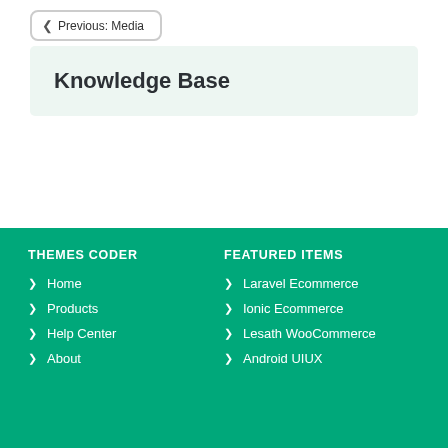Previous: Media
Knowledge Base
THEMES CODER
Home
Products
Help Center
About
FEATURED ITEMS
Laravel Ecommerce
Ionic Ecommerce
Lesath WooCommerce
Android UIUX